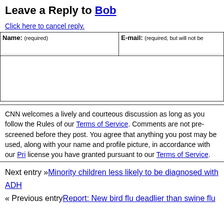Leave a Reply to Bob
Click here to cancel reply.
| Name: (required) | E-mail: (required, but will not be published) |
| --- | --- |
|  |  |
CNN welcomes a lively and courteous discussion as long as you follow the Rules of our Terms of Service. Comments are not pre-screened before they post. You agree that anything you post may be used, along with your name and profile picture, in accordance with our Privacy Policy and the license you have granted pursuant to our Terms of Service.
Next entry »Minority children less likely to be diagnosed with ADHD
« Previous entryReport: New bird flu deadlier than swine flu